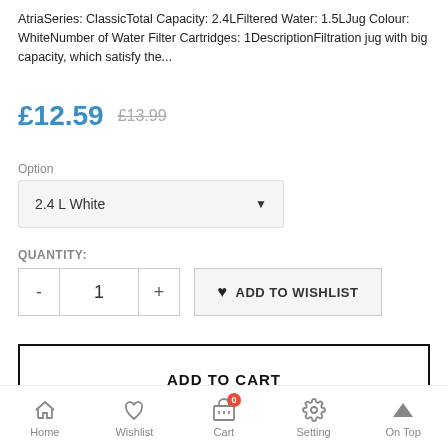AtriaSeries: ClassicTotal Capacity: 2.4LFiltered Water: 1.5LJug Colour: WhiteNumber of Water Filter Cartridges: 1DescriptionFiltration jug with big capacity, which satisfy the...
£12.59   £13.99
Option
2.4 L White
QUANTITY:
1
♥ ADD TO WISHLIST
ADD TO CART
Home   Wishlist   Cart   Setting   On Top